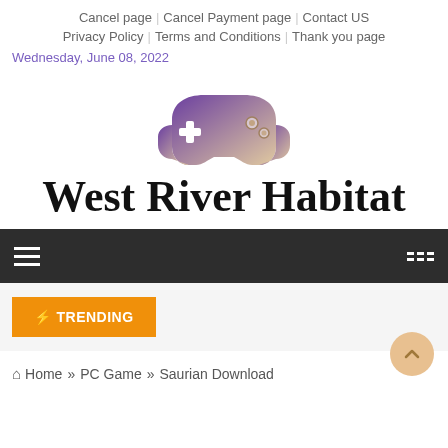Cancel page   Cancel Payment page   Contact US   Privacy Policy   Terms and Conditions   Thank you page
Wednesday, June 08, 2022
[Figure (logo): Game controller icon with gradient purple to beige color above the site name West River Habitat]
West River Habitat
Navigation bar with hamburger menu and grid icon
⚡ TRENDING
🏠 Home » PC Game » Saurian Download